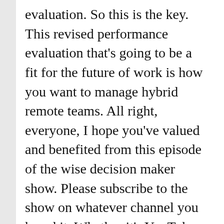evaluation. So this is the key. This revised performance evaluation that's going to be a fit for the future of work is how you want to manage hybrid remote teams. All right, everyone, I hope you've valued and benefited from this episode of the wise decision maker show. Please subscribe to the show on whatever channel you heard it. Whether it's YouTube, you heard a tote via video cast or on a podcast on iTunes or Amazon or wherever you heard it. Please subscribe and please share your comments, leave your thoughts, click like if you liked it and share it with your friends and family. That's the best thing that you can do. Please make sure to leave a review